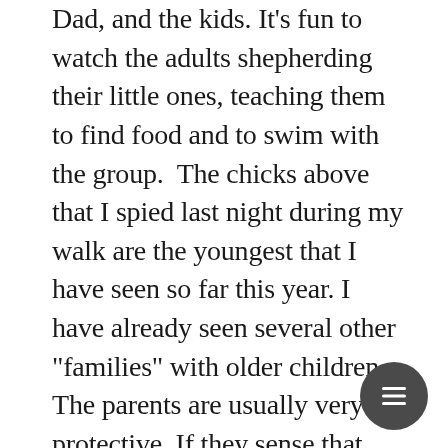Dad, and the kids. It's fun to watch the adults shepherding their little ones, teaching them to find food and to swim with the group. The chicks above that I spied last night during my walk are the youngest that I have seen so far this year. I have already seen several other "families" with older children. The parents are usually very protective. If they sense that approaching humans could be a threat, there will be one of two geese that start to honk a warning, and they will begin to move more quickly, urging their young toward the pond or lake. I love watching the little ones grow and develop from tiny chicks to adolescents. The older they get the more independent they appear. And in the larger broods, there always